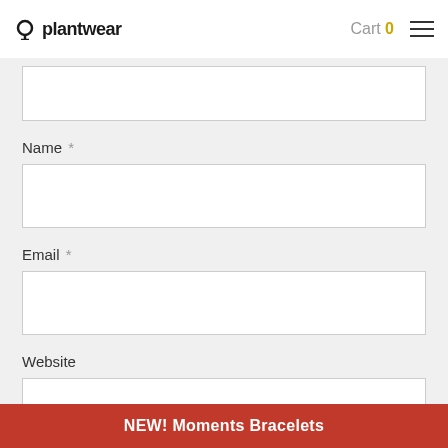plantwear | Cart 0
Name *
Email *
Website
Post Comment
NEW! Moments Bracelets